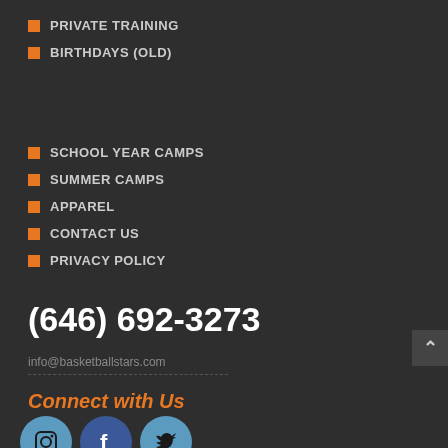PRIVATE TRAINING
BIRTHDAYS (OLD)
SCHOOL YEAR CAMPS
SUMMER CAMPS
APPAREL
CONTACT US
PRIVACY POLICY
(646) 692-3273
info@basketballstars.com
Connect with Us
[Figure (illustration): Social media icons: Instagram, Facebook, Twitter]